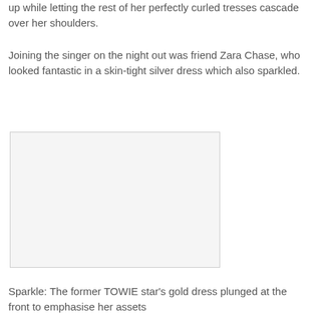up while letting the rest of her perfectly curled tresses cascade over her shoulders.
Joining the singer on the night out was friend Zara Chase, who looked fantastic in a skin-tight silver dress which also sparkled.
[Figure (photo): A photo placeholder — light grey rectangle with thin border]
Sparkle: The former TOWIE star's gold dress plunged at the front to emphasise her assets